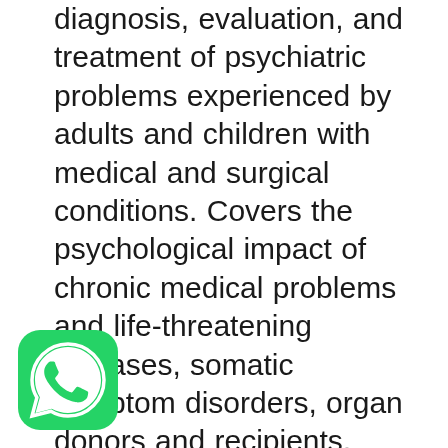diagnosis, evaluation, and treatment of psychiatric problems experienced by adults and children with medical and surgical conditions. Covers the psychological impact of chronic medical problems and life-threatening diseases, somatic symptom disorders, organ donors and recipients, pain, substance abuse, and polypharmacy, including a thorough review of drug actions and interactions, metabolism, and elimination. Features DSM-5 updates throughout, as well as case studies in every chapter. Contains
[Figure (logo): WhatsApp logo icon — green circle with white phone handset inside a speech bubble]